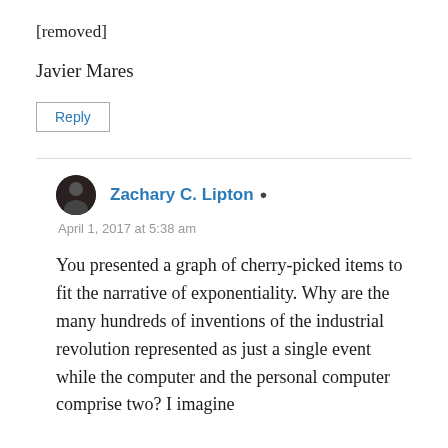[removed]
Javier Mares
Reply
Zachary C. Lipton
April 1, 2017 at 5:38 am
You presented a graph of cherry-picked items to fit the narrative of exponentiality. Why are the many hundreds of inventions of the industrial revolution represented as just a single event while the computer and the personal computer comprise two? I imagine